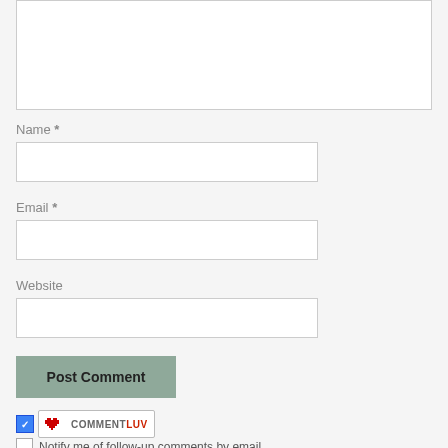[Figure (screenshot): Partial comment form textarea at top of page, cut off]
Name *
[Figure (screenshot): Name input text field]
Email *
[Figure (screenshot): Email input text field]
Website
[Figure (screenshot): Website input text field]
[Figure (screenshot): Post Comment button]
[Figure (screenshot): CommentLuv checkbox and badge]
Notify me of follow-up comments by email.